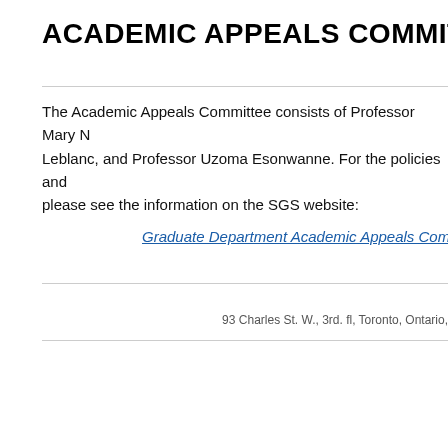ACADEMIC APPEALS COMMITTEE
The Academic Appeals Committee consists of Professor Mary N, Leblanc, and Professor Uzoma Esonwanne. For the policies and please see the information on the SGS website:
Graduate Department Academic Appeals Committ...
93 Charles St. W., 3rd. fl, Toronto, Ontario,